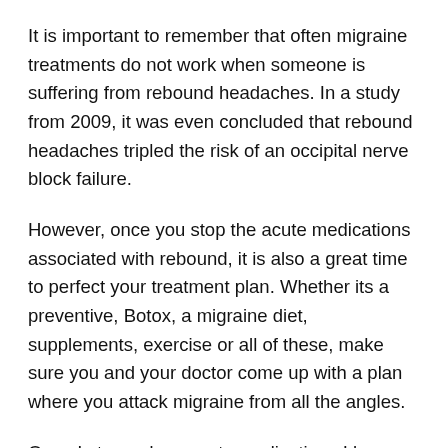It is important to remember that often migraine treatments do not work when someone is suffering from rebound headaches. In a study from 2009, it was even concluded that rebound headaches tripled the risk of an occipital nerve block failure.
However, once you stop the acute medications associated with rebound, it is also a great time to perfect your treatment plan. Whether its a preventive, Botox, a migraine diet, supplements, exercise or all of these, make sure you and your doctor come up with a plan where you attack migraine from all the angles.
Once I stopped my acute medications I began the Heal Your Headache diet. I continued taking my preventive medication and getting Botox even though my first trial failed. I was getting chiropractic treatment once a week. I